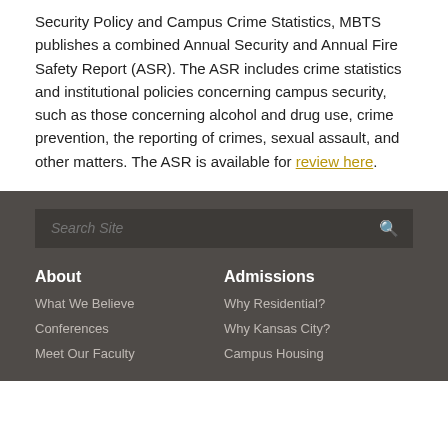Security Policy and Campus Crime Statistics, MBTS publishes a combined Annual Security and Annual Fire Safety Report (ASR). The ASR includes crime statistics and institutional policies concerning campus security, such as those concerning alcohol and drug use, crime prevention, the reporting of crimes, sexual assault, and other matters. The ASR is available for review here.
Search Site | About | What We Believe | Conferences | Meet Our Faculty | Admissions | Why Residential? | Why Kansas City? | Campus Housing